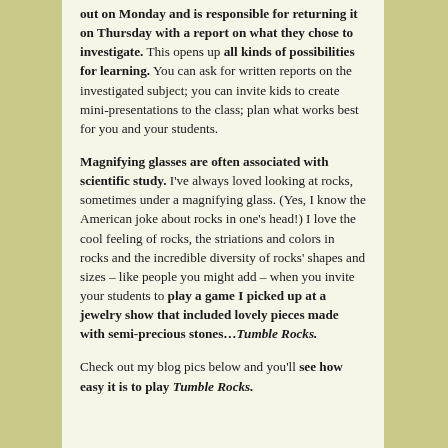out on Monday and is responsible for returning it on Thursday with a report on what they chose to investigate. This opens up all kinds of possibilities for learning. You can ask for written reports on the investigated subject; you can invite kids to create mini-presentations to the class; plan what works best for you and your students.
Magnifying glasses are often associated with scientific study. I've always loved looking at rocks, sometimes under a magnifying glass. (Yes, I know the American joke about rocks in one's head!) I love the cool feeling of rocks, the striations and colors in rocks and the incredible diversity of rocks' shapes and sizes – like people you might add – when you invite your students to play a game I picked up at a jewelry show that included lovely pieces made with semi-precious stones…Tumble Rocks.
Check out my blog pics below and you'll see how easy it is to play Tumble Rocks.